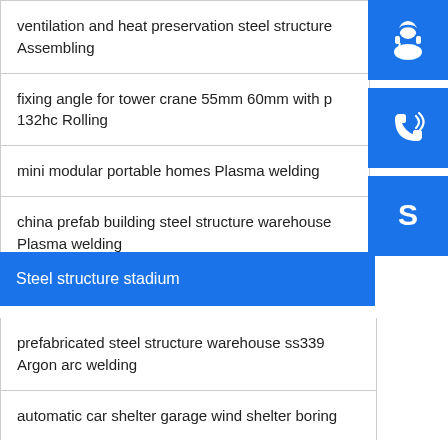ventilation and heat preservation steel structure Assembling
fixing angle for tower crane 55mm 60mm with p 132hc Rolling
mini modular portable homes Plasma welding
china prefab building steel structure warehouse Plasma welding
Steel structure stadium
prefabricated steel structure warehouse ss339 Argon arc welding
automatic car shelter garage wind shelter boring